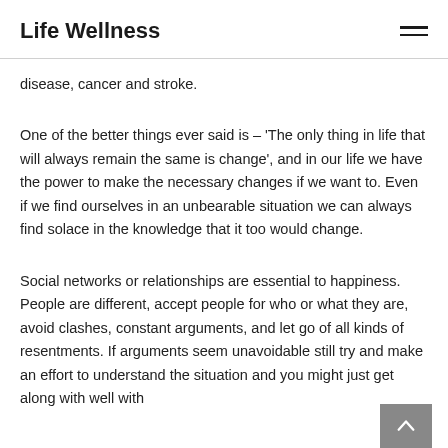Life Wellness
disease, cancer and stroke.
One of the better things ever said is – 'The only thing in life that will always remain the same is change', and in our life we have the power to make the necessary changes if we want to. Even if we find ourselves in an unbearable situation we can always find solace in the knowledge that it too would change.
Social networks or relationships are essential to happiness. People are different, accept people for who or what they are, avoid clashes, constant arguments, and let go of all kinds of resentments. If arguments seem unavoidable still try and make an effort to understand the situation and you might just get along with well with